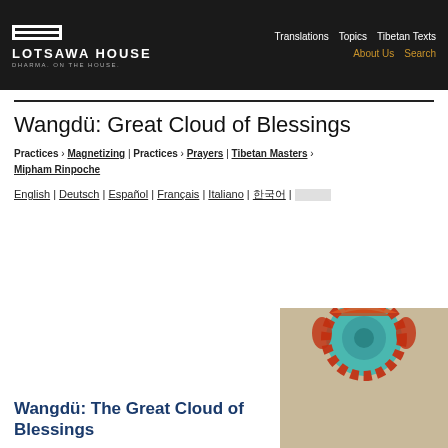LOTSAWA HOUSE | DHARMA. ON THE HOUSE. | Translations | Topics | Tibetan Texts | About Us | Search
Wangdü: Great Cloud of Blessings
Practices › Magnetizing | Practices › Prayers | Tibetan Masters › Mipham Rinpoche
English | Deutsch | Español | Français | Italiano | 한국어 | _____
[Figure (illustration): Partial view of a Tibetan thangka painting showing a circular mandala design with teal/blue center and red/orange flame border, on a beige background]
Wangdü: The Great Cloud of Blessings